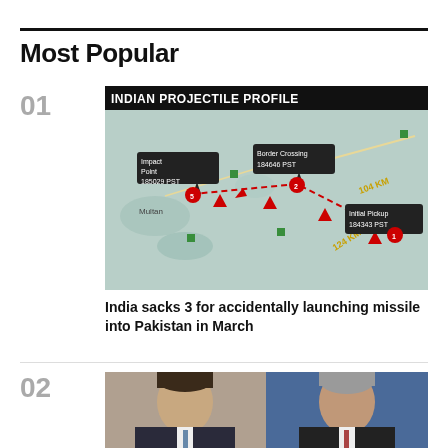Most Popular
01
[Figure (map): Indian Projectile Profile map showing missile trajectory with points: Initial Pickup 184343 PST, Border Crossing 184646 PST, Impact Point 185029 PST. Distances: 104 KM, 124 KM, 33 KM marked along dotted path.]
India sacks 3 for accidentally launching missile into Pakistan in March
02
[Figure (photo): Two men photographed side by side — one younger with dark hair, one older with gray hair in front of blue background.]